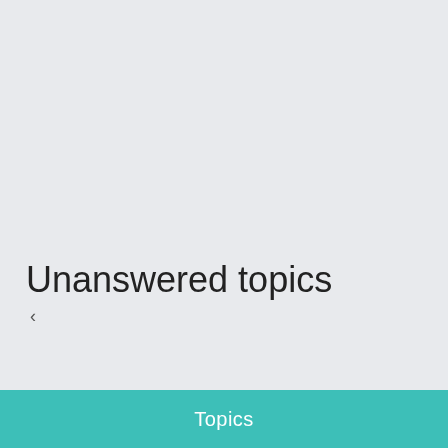Unanswered topics
<
[Figure (screenshot): Search bar with text input 'Search these results', a teal search button with magnifying glass icon, and a dark grey settings/gear button]
[Figure (screenshot): Pagination control with redirect arrow button, page 1 highlighted in teal, several grey page buttons, gap, one grey button, and a right arrow next button]
Topics